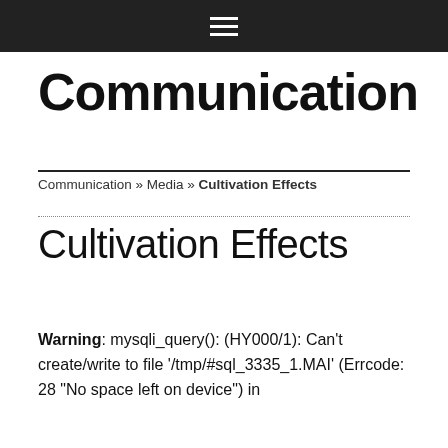☰
Communication
Communication » Media » Cultivation Effects
Cultivation Effects
Warning: mysqli_query(): (HY000/1): Can't create/write to file '/tmp/#sql_3335_1.MAI' (Errcode: 28 "No space left on device") in